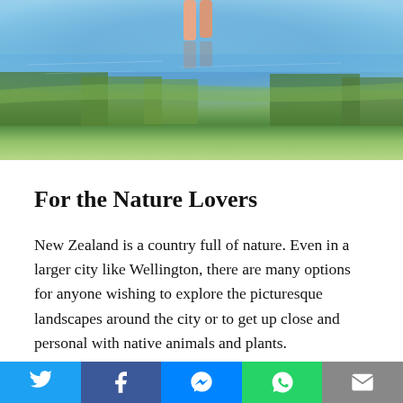[Figure (photo): A scenic outdoor photo showing a reflective lake or water body with trees and greenery reflected, with a person's legs visible at the top center standing at the water's edge.]
For the Nature Lovers
New Zealand is a country full of nature. Even in a larger city like Wellington, there are many options for anyone wishing to explore the picturesque landscapes around the city or to get up close and personal with native animals and plants.
With this in mind, the Zealandia Te Māra a Tāne By Day Tour is the perfect summer activity — not too far from the central
[Figure (infographic): Social media sharing bar at the bottom with Twitter, Facebook, Messenger, WhatsApp, and Email buttons.]